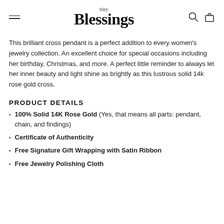tiny Blessings
This brilliant cross pendant is a perfect addition to every women's jewelry collection. An excellent choice for special occasions including her birthday, Christmas, and more. A perfect little reminder to always let her inner beauty and light shine as brightly as this lustrous solid 14k rose gold cross.
PRODUCT DETAILS
100% Solid 14K Rose Gold (Yes, that means all parts: pendant, chain, and findings)
Certificate of Authenticity
Free Signature Gift Wrapping with Satin Ribbon
Free Jewelry Polishing Cloth